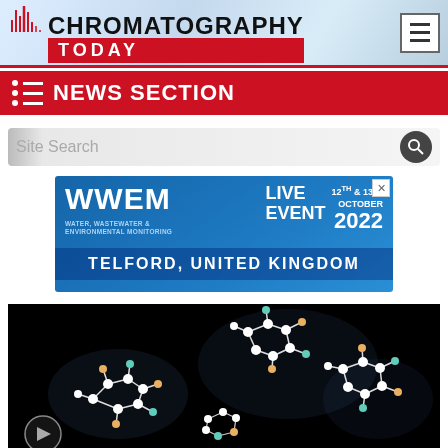CHROMATOGRAPHY TODAY
NEWS SECTION
Site Search
[Figure (infographic): WWEM advertisement banner: Water, Wastewater & Environmental Monitoring. Live Event 12th & 13th October 2022. Telford, United Kingdom.]
[Figure (photo): Molecular structure models on black background, showing white ball-and-stick molecular structures with teal and orange atoms.]